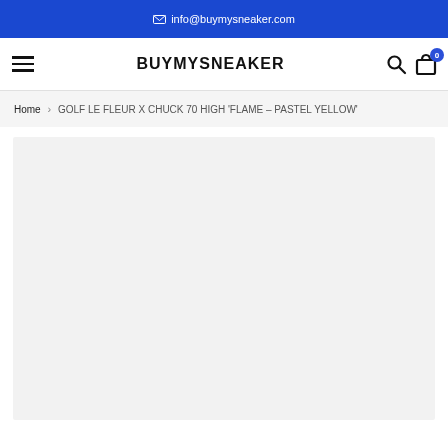✉ info@buymysneaker.com
[Figure (logo): BUYMYSNEAKER logo and navigation bar with hamburger menu, search icon, and cart icon showing 0 items]
Home > GOLF LE FLEUR X CHUCK 70 HIGH 'FLAME – PASTEL YELLOW'
[Figure (photo): Product image area — light gray placeholder box for sneaker product photo]